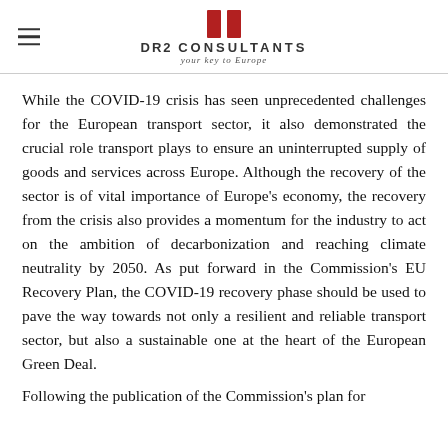DR2 CONSULTANTS — your key to Europe
While the COVID-19 crisis has seen unprecedented challenges for the European transport sector, it also demonstrated the crucial role transport plays to ensure an uninterrupted supply of goods and services across Europe. Although the recovery of the sector is of vital importance of Europe's economy, the recovery from the crisis also provides a momentum for the industry to act on the ambition of decarbonization and reaching climate neutrality by 2050. As put forward in the Commission's EU Recovery Plan, the COVID-19 recovery phase should be used to pave the way towards not only a resilient and reliable transport sector, but also a sustainable one at the heart of the European Green Deal.
Following the publication of the Commission's plan for